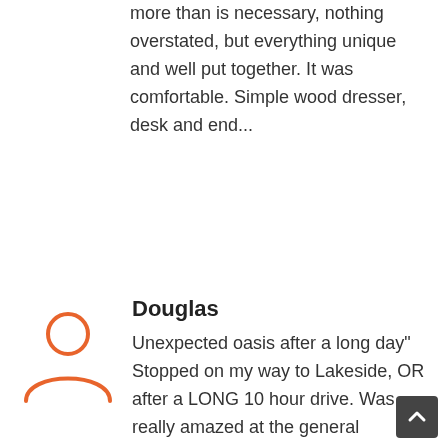more than is necessary, nothing overstated, but everything unique and well put together. It was comfortable. Simple wood dresser, desk and end...
[Figure (illustration): Orange outline icon of a generic person/user avatar (head and shoulders silhouette)]
Douglas
Unexpected oasis after a long day" Stopped on my way to Lakeside, OR after a LONG 10 hour drive. Was really amazed at the general appearance of your property. Immaculate, beautifully landscaped, lots of parking. Reserved a room and got a suite for same price. Clean, quiet and comfortable. Just what